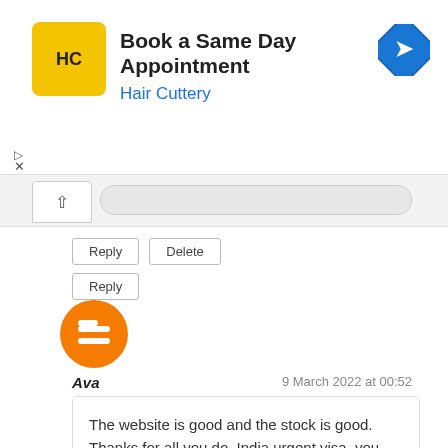[Figure (screenshot): Hair Cuttery advertisement banner with logo, title 'Book a Same Day Appointment', subtitle 'Hair Cuttery', and a blue navigation icon]
[Figure (screenshot): Scroll/navigation bar with chevron up icon]
[Figure (screenshot): Reply and Delete buttons followed by Reply button]
[Figure (logo): Blogger orange circle icon with B logo]
Ava
9 March 2022 at 00:52
The website is good and the stock is good. Thanks for all you do. India urgent visa, you can fill an online Indian emergency visa application form. Within 5 to 10 minutes you can fill your India emergency visa application form. Urgent visa to India you get in 1 to 3 business days.